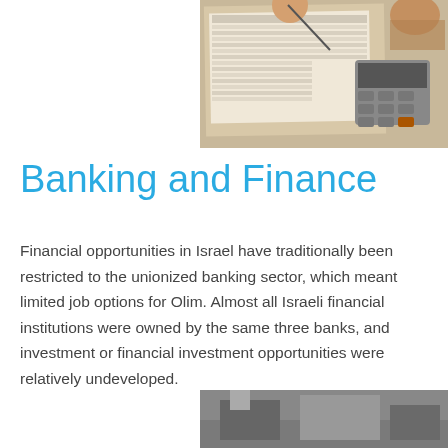[Figure (photo): Person writing on financial documents with a calculator, viewed from above]
Banking and Finance
Financial opportunities in Israel have traditionally been restricted to the unionized banking sector, which meant limited job options for Olim. Almost all Israeli financial institutions were owned by the same three banks, and investment or financial investment opportunities were relatively undeveloped.
[Figure (photo): Partial photo visible at bottom right of page]